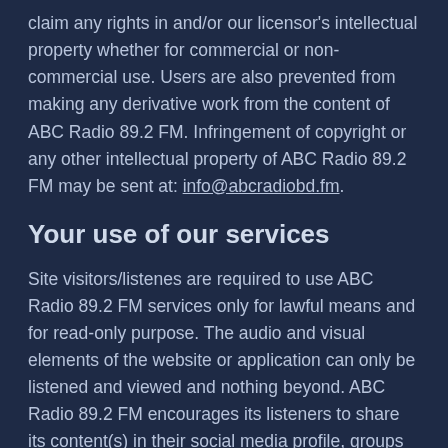claim any rights in and/or our licensor's intellectual property whether for commercial or non-commercial use. Users are also prevented from making any derivative work from the content of ABC Radio 89.2 FM. Infringement of copyright or any other intellectual property of ABC Radio 89.2 FM may be sent at: info@abcradiobd.fm.
Your use of our services
Site visitors/listenes are required to use ABC Radio 89.2 FM services only for lawful means and for read-only purpose. The audio and visual elements of the website or application can only be listened and viewed and nothing beyond. ABC Radio 89.2 FM encourages its listeners to share its content(s) in their social media profile, groups and related communities. However, the contents of our services